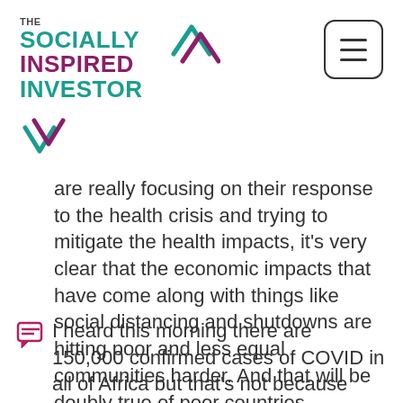THE SOCIALLY INSPIRED INVESTOR
are really focusing on their response to the health crisis and trying to mitigate the health impacts, it's very clear that the economic impacts that have come along with things like social distancing and shutdowns are hitting poor and less equal communities harder. And that will be doubly true of poor countries.
I heard this morning there are 150,000 confirmed cases of COVID in all of Africa but that's not because that's how many cases there are, it's because that's their capacity to test.